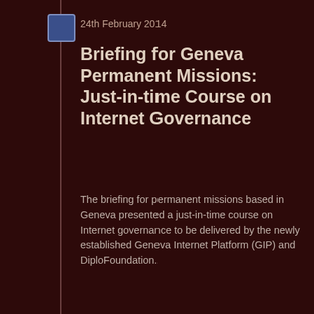24th February 2014
Briefing for Geneva Permanent Missions: Just-in-time Course on Internet Governance
The briefing for permanent missions based in Geneva presented a just-in-time course on Internet governance to be delivered by the newly established Geneva Internet Platform (GIP) and DiploFoundation.
View on timeline
4th March 2014
GIP briefing on February IG developments
Monthly updates on the latest developments in Internet governance. February developments discussed included the European Commission's position on Internet governance, the Brazil and EU...